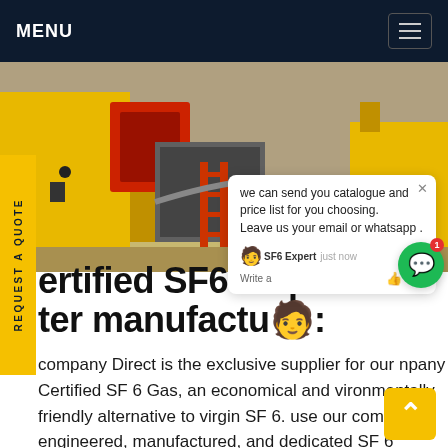MENU
[Figure (photo): Industrial SF6 gas equipment, yellow machinery with red and metal components outdoors]
REQUEST A QUOTE
we can send you catalogue and price list for you choosing. Leave us your email or whatsapp .
ertified SF6 inspe ter manufactu
company Direct is the exclusive supplier for our npany Certified SF 6 Gas, an economical and vironmentally friendly alternative to virgin SF 6. use our company engineered, manufactured, and dedicated SF 6 equipment to provide reconditioned gas that exceeds IEC 60480 and C37.122.3-2011 standards. Our environmentally